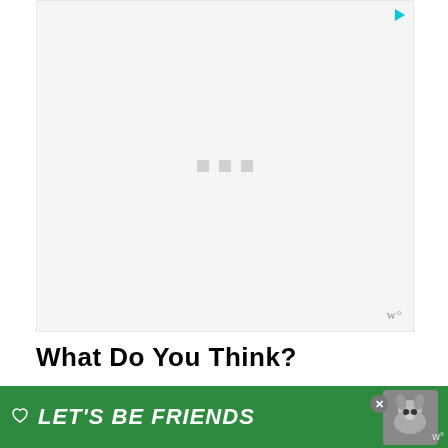[Figure (other): Advertisement placeholder box with loading dots, ad icon (play/ad triangle) in top right corner, and watermark 'w°' in bottom right]
What do you think?
How do you feel about the athleisure trend?
Are you glad it continued on from last year?
[Figure (other): Green banner advertisement at the bottom reading LET'S BE FRIENDS with a husky dog image and heart icon, close button (x)]